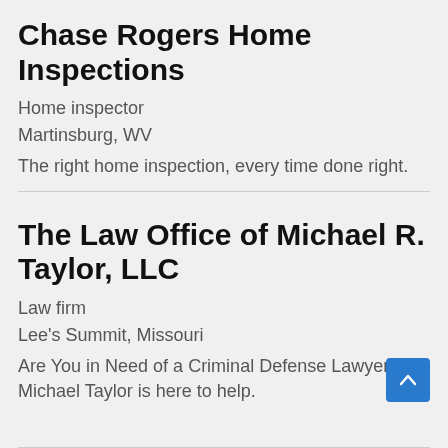Chase Rogers Home Inspections
Home inspector
Martinsburg, WV
The right home inspection, every time done right.
The Law Office of Michael R. Taylor, LLC
Law firm
Lee's Summit, Missouri
Are You in Need of a Criminal Defense Lawyer? Michael Taylor is here to help.